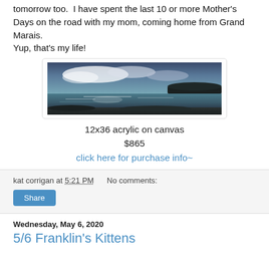tomorrow too.  I have spent the last 10 or more Mother's Days on the road with my mom, coming home from Grand Marais.
Yup, that's my life!
[Figure (photo): A panoramic painting (12x36 acrylic on canvas) showing a lakeside landscape with dark trees on the horizon, dramatic blue-grey sky with clouds, and reflective water in the foreground.]
12x36 acrylic on canvas
$865
click here for purchase info~
kat corrigan at 5:21 PM    No comments:
Share
Wednesday, May 6, 2020
5/6 Franklin's Kittens